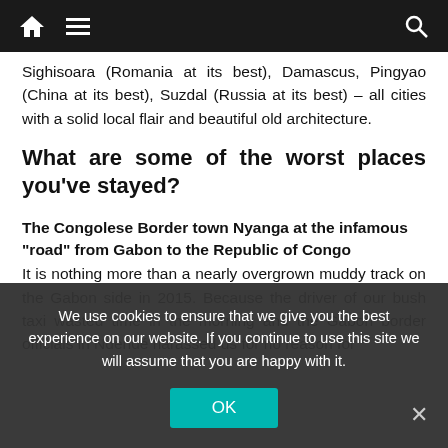Navigation bar with home icon, menu icon, and search icon
Sighisoara (Romania at its best), Damascus, Pingyao (China at its best), Suzdal (Russia at its best) – all cities with a solid local flair and beautiful old architecture.
What are some of the worst places you've stayed?
The Congolese Border town Nyanga at the infamous “road” from Gabon to the Republic of Congo
It is nothing more than a nearly overgrown muddy track on the Gabon side in 2015. Because the driver of our bush taxi wasted time in the morning and the Gabon border officials in Ndendé harassed us for no reason for
We use cookies to ensure that we give you the best experience on our website. If you continue to use this site we will assume that you are happy with it.